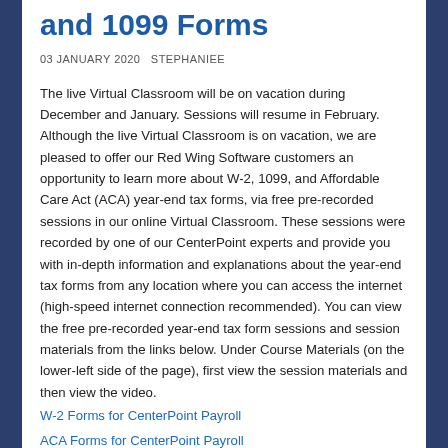and 1099 Forms
03 JANUARY 2020   STEPHANIEE
The live Virtual Classroom will be on vacation during December and January. Sessions will resume in February. Although the live Virtual Classroom is on vacation, we are pleased to offer our Red Wing Software customers an opportunity to learn more about W-2, 1099, and Affordable Care Act (ACA) year-end tax forms, via free pre-recorded sessions in our online Virtual Classroom. These sessions were recorded by one of our CenterPoint experts and provide you with in-depth information and explanations about the year-end tax forms from any location where you can access the internet (high-speed internet connection recommended). You can view the free pre-recorded year-end tax form sessions and session materials from the links below. Under Course Materials (on the lower-left side of the page), first view the session materials and then view the video.
W-2 Forms for CenterPoint Payroll
ACA Forms for CenterPoint Payroll